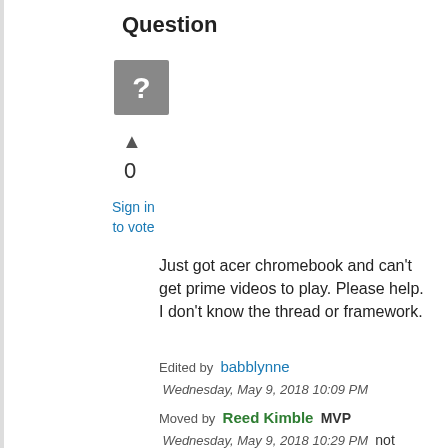Question
[Figure (other): Gray square avatar with white question mark icon]
▲
0
Sign in
to vote
Just got acer chromebook and can't get prime videos to play. Please help. I don't know the thread or framework.
Edited by  babblynne
 Wednesday, May 9, 2018 10:09 PM
Moved by  Reed Kimble  MVP
 Wednesday, May 9, 2018 10:29 PM   not development related
Wednesday, May 9, 2018 10:08 PM